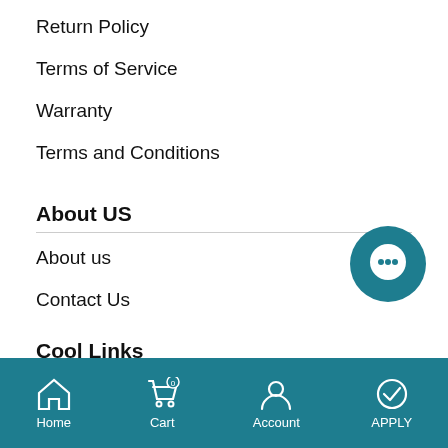Return Policy
Terms of Service
Warranty
Terms and Conditions
About US
About us
Contact Us
Cool Links
[Figure (screenshot): Chat/message bubble icon in teal circle, floating on right side]
Home  Cart  Account  APPLY